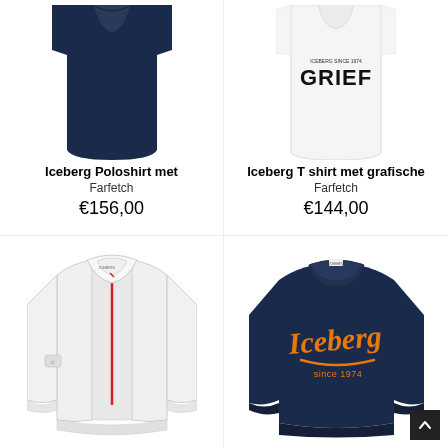[Figure (photo): Navy blue Iceberg polo shirt, partially cropped at top]
Iceberg Poloshirt met
Farfetch
€156,00
[Figure (photo): White Iceberg t-shirt with GRIEF graphic text, partially cropped at top]
Iceberg T shirt met grafische
Farfetch
€144,00
[Figure (photo): White Iceberg zip-up jacket with red zipper and logo patch on sleeve]
[Figure (photo): Navy blue Iceberg sweatshirt with orange Iceberg since 1974 logo]